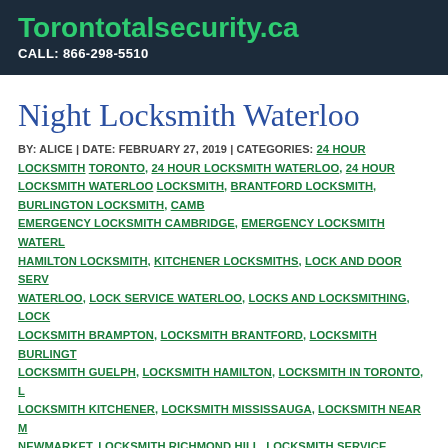Torontotalsecurity.ca
CALL: 866-298-5510
Night Locksmith Waterloo
BY: ALICE | DATE: FEBRUARY 27, 2019 | CATEGORIES: 24 HOUR LOCKSMITH TORONTO, 24 HOUR LOCKSMITH WATERLOO, 24 HOUR LOCKSMITH WATERLOO LOCKSMITH, BRANTFORD LOCKSMITH, BURLINGTON LOCKSMITH, CAMBRIDGE EMERGENCY LOCKSMITH CAMBRIDGE, EMERGENCY LOCKSMITH WATERLOO, HAMILTON LOCKSMITH, KITCHENER LOCKSMITHS, LOCK AND DOOR SERVICE WATERLOO, LOCK SERVICE WATERLOO, LOCKS AND LOCKSMITHING, LOCKSMITH BRAMPTON, LOCKSMITH BRANTFORD, LOCKSMITH BURLINGTON, LOCKSMITH GUELPH, LOCKSMITH HAMILTON, LOCKSMITH IN TORONTO, LOCKSMITH KITCHENER, LOCKSMITH MISSISSAUGA, LOCKSMITH NEAR ME NEWMARKET, LOCKSMITH RICHMOND HILL, LOCKSMITH SERVICE, LOCKSMITH ST.CATHARINES, LOCKSMITH TORONTO, LOCKSMITH VAUGHAN, LOCKSMITH WATERLOO, LOCKSMITH WHITBY, LOCKSMITH WOODSTOCK, REKEY KITCHENER, REKEY LOCKSMITH TORONTO, REKEY TORONTO LOCKSMITH, TORONTO LOCKSMITH, WHITBY LOCKSMITH, WOODSTOCK LOCKSMITH